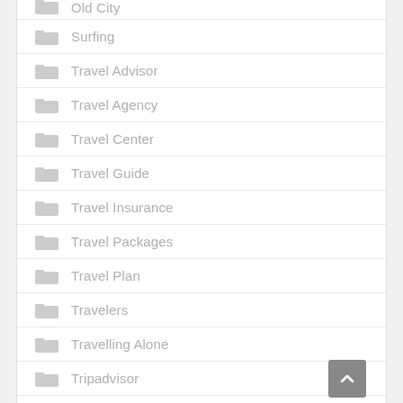Old City
Surfing
Travel Advisor
Travel Agency
Travel Center
Travel Guide
Travel Insurance
Travel Packages
Travel Plan
Travelers
Travelling Alone
Tripadvisor